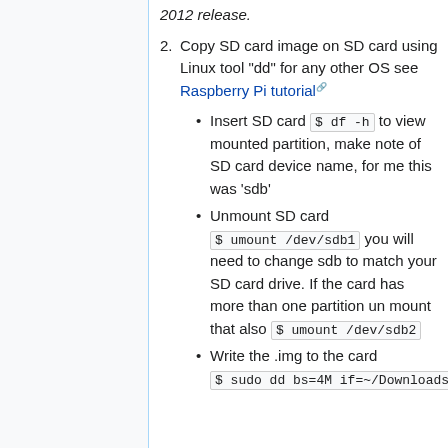2012 release.
Copy SD card image on SD card using Linux tool "dd" for any other OS see Raspberry Pi tutorial
Insert SD card $ df -h to view mounted partition, make note of SD card device name, for me this was 'sdb'
Unmount SD card $ umount /dev/sdb1 you will need to change sdb to match your SD card drive. If the card has more than one partition un mount that also $ umount /dev/sdb2
Write the .img to the card $ sudo dd bs=4M if=~/Downloads/2012-09-18-wheezy-